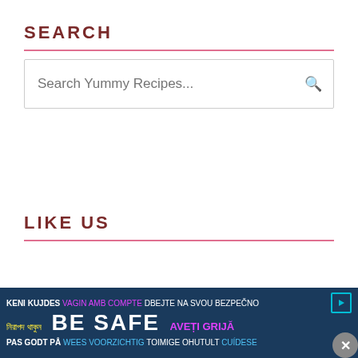SEARCH
[Figure (screenshot): Search input box with placeholder text 'Search Yummy Recipes...' and a search icon]
LIKE US
MOST POPULAR
[Figure (other): Advertisement banner: BE SAFE with multilingual safety messages in various colors on dark blue background]